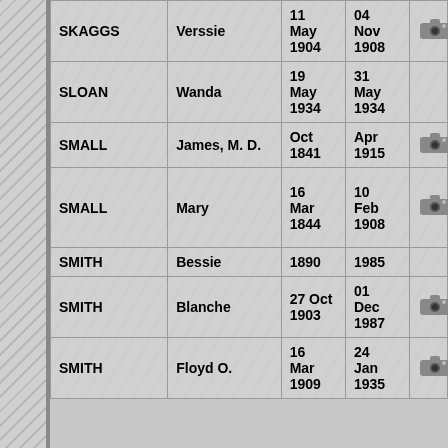| Last Name | First Name | Birth Date | Death Date | Photo |
| --- | --- | --- | --- | --- |
| SKAGGS | Verssie | 11 May 1904 | 04 Nov 1908 | 📷 |
| SLOAN | Wanda | 19 May 1934 | 31 May 1934 |  |
| SMALL | James, M. D. | Oct 1841 | Apr 1915 | 📷 |
| SMALL | Mary | 16 Mar 1844 | 10 Feb 1908 | 📷 |
| SMITH | Bessie | 1890 | 1985 |  |
| SMITH | Blanche | 27 Oct 1903 | 01 Dec 1987 | 📷 |
| SMITH | Floyd O. | 16 Mar 1909 | 24 Jan 1935 | 📷 |